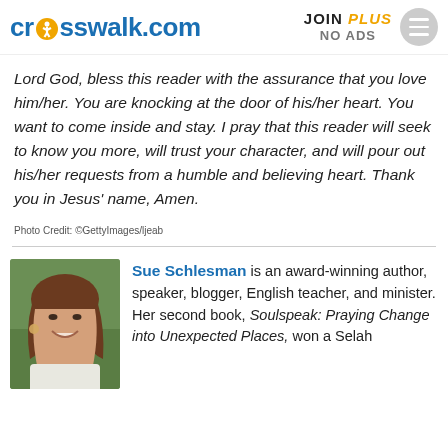crosswalk.com | JOIN PLUS NO ADS
Lord God, bless this reader with the assurance that you love him/her. You are knocking at the door of his/her heart. You want to come inside and stay. I pray that this reader will seek to know you more, will trust your character, and will pour out his/her requests from a humble and believing heart. Thank you in Jesus' name, Amen.
Photo Credit: ©GettyImages/ljeab
Sue Schlesman is an award-winning author, speaker, blogger, English teacher, and minister. Her second book, Soulspeak: Praying Change into Unexpected Places, won a Selah